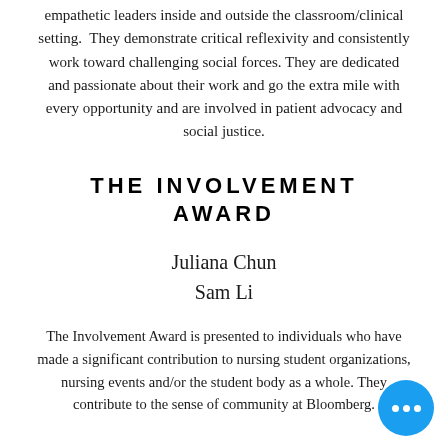empathetic leaders inside and outside the classroom/clinical setting. They demonstrate critical reflexivity and consistently work toward challenging social forces. They are dedicated and passionate about their work and go the extra mile with every opportunity and are involved in patient advocacy and social justice.
THE INVOLVEMENT AWARD
Juliana Chun
Sam Li
The Involvement Award is presented to individuals who have made a significant contribution to nursing student organizations, nursing events and/or the student body as a whole. They contribute to the sense of community at Bloomberg.